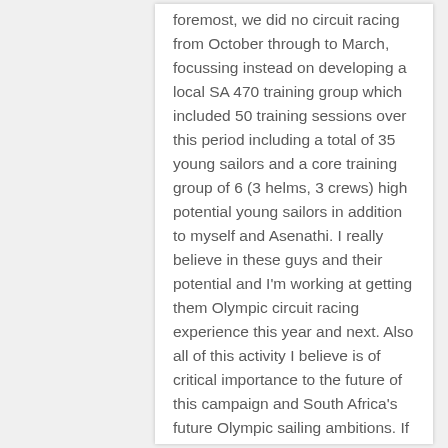foremost, we did no circuit racing from October through to March, focussing instead on developing a local SA 470 training group which included 50 training sessions over this period including a total of 35 young sailors and a core training group of 6 (3 helms, 3 crews) high potential young sailors in addition to myself and Asenathi. I really believe in these guys and their potential and I'm working at getting them Olympic circuit racing experience this year and next. Also all of this activity I believe is of critical importance to the future of this campaign and South Africa's future Olympic sailing ambitions. If we can't learn to train hard and develop strong basic skills locally (as Australia and New Zealand do) before stepping onto the circuit, we can't expect to compete and draw proper value from circuit racing when we get there. Also if we don't work hard on preparing and developing our most talented young sailors now, we